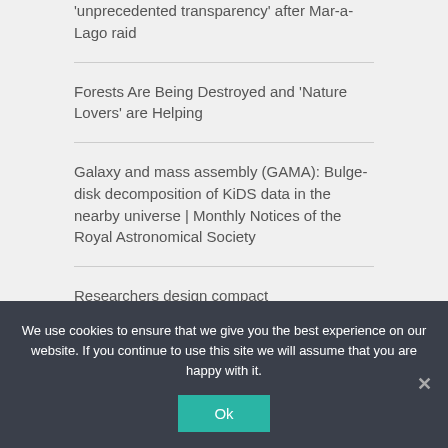'unprecedented transparency' after Mar-a-Lago raid
Forests Are Being Destroyed and 'Nature Lovers' are Helping
Galaxy and mass assembly (GAMA): Bulge-disk decomposition of KiDS data in the nearby universe | Monthly Notices of the Royal Astronomical Society
Researchers design compact
We use cookies to ensure that we give you the best experience on our website. If you continue to use this site we will assume that you are happy with it.